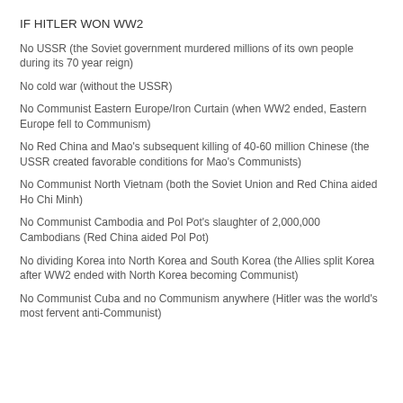IF HITLER WON WW2
No USSR (the Soviet government murdered millions of its own people during its 70 year reign)
No cold war (without the USSR)
No Communist Eastern Europe/Iron Curtain (when WW2 ended, Eastern Europe fell to Communism)
No Red China and Mao's subsequent killing of 40-60 million Chinese (the USSR created favorable conditions for Mao's Communists)
No Communist North Vietnam (both the Soviet Union and Red China aided Ho Chi Minh)
No Communist Cambodia and Pol Pot's slaughter of 2,000,000 Cambodians (Red China aided Pol Pot)
No dividing Korea into North Korea and South Korea (the Allies split Korea after WW2 ended with North Korea becoming Communist)
No Communist Cuba and no Communism anywhere (Hitler was the world's most fervent anti-Communist)